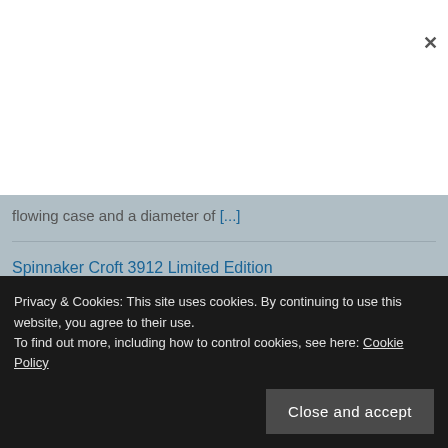flowing case and a diameter of [...]
Spinnaker Croft 3912 Limited Edition
Spinnaker has launched Croft 3912, a brand new limited edition diving watch that combines vintage and modern style. It has a 39mm diameter case made of stainless steel. Finely finished, the slim but [...]
Mido Ocean Star Tribute Gradient (reference
Privacy & Cookies: This site uses cookies. By continuing to use this website, you agree to their use.
To find out more, including how to control cookies, see here: Cookie Policy
[Close and accept]